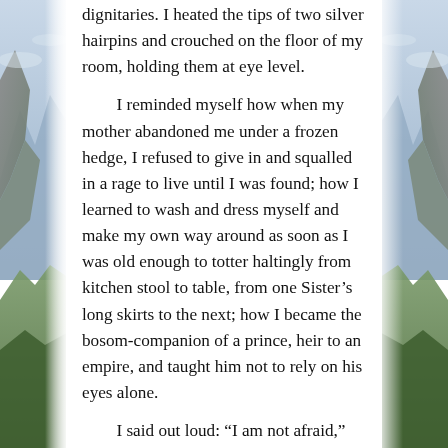[Figure (illustration): Decorative side panels showing a mountain landscape painting on both left and right sides of the page, with rocky peaks, foliage, and a blue-grey sky.]
dignitaries. I heated the tips of two silver hairpins and crouched on the floor of my room, holding them at eye level.

I reminded myself how when my mother abandoned me under a frozen hedge, I refused to give in and squalled in a rage to live until I was found; how I learned to wash and dress myself and make my own way around as soon as I was old enough to totter haltingly from kitchen stool to table, from one Sister’s long skirts to the next; how I became the bosom-companion of a prince, heir to an empire, and taught him not to rely on his eyes alone.

I said out loud: “I am not afraid,” and brought the pins to my eyes.

The heat seared the moisture from the orbs. I hoped it was already done and the pain would arrive in a moment, when of their own volition my eyelids